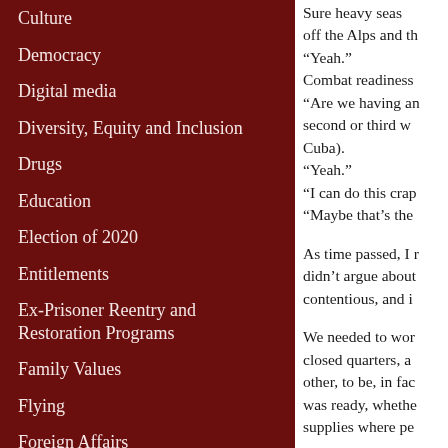Culture
Democracy
Digital media
Diversity, Equity and Inclusion
Drugs
Education
Election of 2020
Entitlements
Ex-Prisoner Reentry and Restoration Programs
Family Values
Flying
Foreign Affairs
Genealogy
Good News
Sure heavy seas off the Alps and th
“Yeah.”
Combat readiness
“Are we having an second or third w Cuba).
“Yeah.”
“I can do this crap
“Maybe that’s the
As time passed, I r didn’t argue about contentious, and i
We needed to wor closed quarters, a other, to be, in fac was ready, whethe supplies where pe